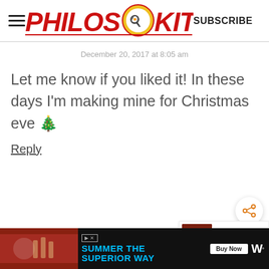Philos Kitchen — SUBSCRIBE
December 20, 2017 at 8:05 am
Let me know if you liked it! In these days I'm making mine for Christmas eve 🎄
Reply
[Figure (screenshot): Share button (orange share icon on white circle)]
[Figure (screenshot): What's Next panel: HOMEMADE SUN-DRIED... with food thumbnail]
[Figure (screenshot): Ad banner at bottom: SUMMER THE SUPERIOR WAY with Buy Now button and food imagery]